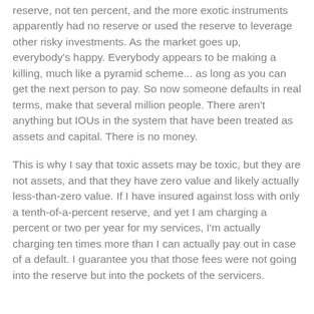reserve, not ten percent, and the more exotic instruments apparently had no reserve or used the reserve to leverage other risky investments. As the market goes up, everybody's happy. Everybody appears to be making a killing, much like a pyramid scheme... as long as you can get the next person to pay. So now someone defaults in real terms, make that several million people. There aren't anything but IOUs in the system that have been treated as assets and capital. There is no money.
This is why I say that toxic assets may be toxic, but they are not assets, and that they have zero value and likely actually less-than-zero value. If I have insured against loss with only a tenth-of-a-percent reserve, and yet I am charging a percent or two per year for my services, I'm actually charging ten times more than I can actually pay out in case of a default. I guarantee you that those fees were not going into the reserve but into the pockets of the servicers.